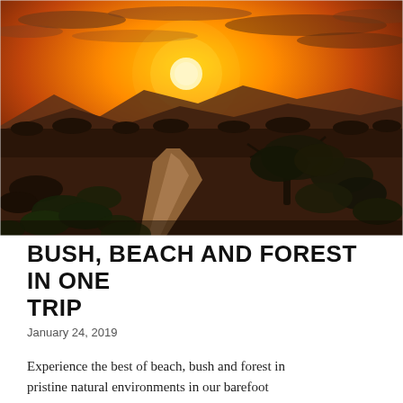[Figure (photo): A winding dirt road through African bush landscape at sunset, with a vivid orange and yellow sky, scattered trees and shrubs, and distant mountains on the horizon.]
BUSH, BEACH AND FOREST IN ONE TRIP
January 24, 2019
Experience the best of beach, bush and forest in pristine natural environments in our barefoot...